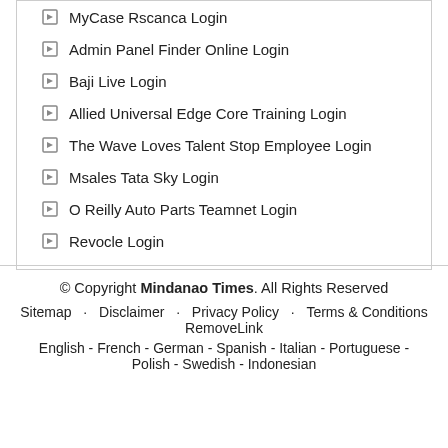MyCase Rscanca Login
Admin Panel Finder Online Login
Baji Live Login
Allied Universal Edge Core Training Login
The Wave Loves Talent Stop Employee Login
Msales Tata Sky Login
O Reilly Auto Parts Teamnet Login
Revocle Login
© Copyright Mindanao Times. All Rights Reserved
Sitemap · Disclaimer · Privacy Policy · Terms & Conditions · RemoveLink
English - French - German - Spanish - Italian - Portuguese - Polish - Swedish - Indonesian